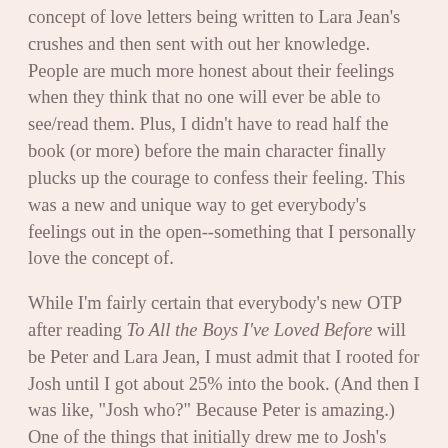concept of love letters being written to Lara Jean's crushes and then sent with out her knowledge. People are much more honest about their feelings when they think that no one will ever be able to see/read them. Plus, I didn't have to read half the book (or more) before the main character finally plucks up the courage to confess their feeling. This was a new and unique way to get everybody's feelings out in the open--something that I personally love the concept of.
While I'm fairly certain that everybody's new OTP after reading To All the Boys I've Loved Before will be Peter and Lara Jean, I must admit that I rooted for Josh until I got about 25% into the book. (And then I was like, "Josh who?" Because Peter is amazing.) One of the things that initially drew me to Josh's character was that he was sweet, in that smart, good-natured and slightly nerdy way. I mean, come on, he dressed as Harry Potter for Halloween. How can you not love that?
But as the book wore on, I admit that I wholeheartedly switched to Team Peter. When Peter first came onto the pages, I wasn't so sure I liked him--mostly because he seemed like someone who wouldn't take a relationship with